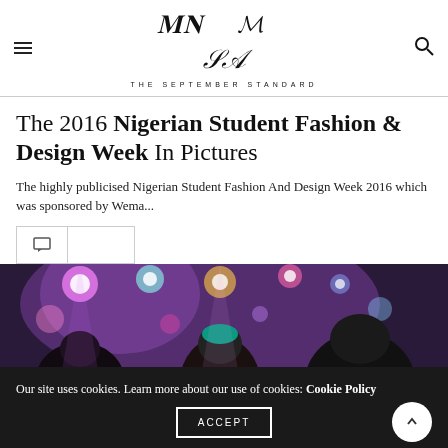THE SEPTEMBER STANDARD
The 2016 Nigerian Student Fashion & Design Week In Pictures
The highly publicised Nigerian Student Fashion And Design Week 2016 which was sponsored by Wema...
[Figure (photo): Event photo showing a crowd at a fashion show with stage lighting in purple and pink tones]
Our site uses cookies. Learn more about our use of cookies: Cookie Policy